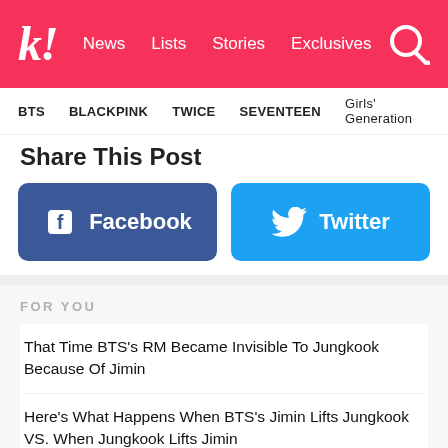k! News Lists Stories Exclusives
BTS   BLACKPINK   TWICE   SEVENTEEN   Girls' Generation
Share This Post
[Figure (other): Facebook share button (blue rounded rectangle with Facebook logo icon and text 'Facebook')]
[Figure (other): Twitter share button (light blue rounded rectangle with Twitter bird icon and text 'Twitter')]
FOR YOU
That Time BTS's RM Became Invisible To Jungkook Because Of Jimin
Here's What Happens When BTS's Jimin Lifts Jungkook VS. When Jungkook Lifts Jimin
Here's Why ARMY Say BTS's Jungkook Is Living His First Lif…